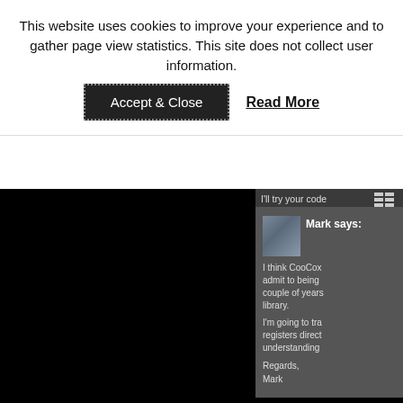This website uses cookies to improve your experience and to gather page view statistics. This site does not collect user information.
Accept & Close
Read More
I'll try your code
Have a nice da
Mark says:
I think CooCox admit to being couple of years library.

I'm going to tra registers direct understanding

Regards,
Mark